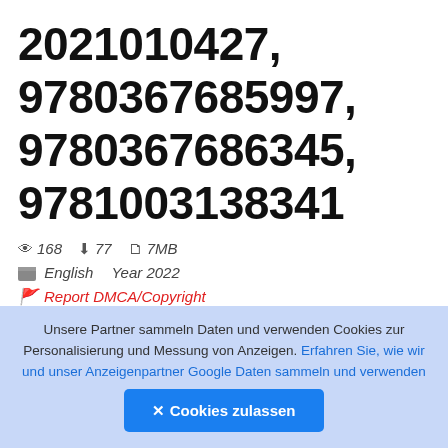2021010427, 9780367685997, 9780367686345, 9781003138341
👁 168  ⬇ 77  🗋 7MB
English  Year 2022
Report DMCA/Copyright
DOWNLOAD FILE
Unsere Partner sammeln Daten und verwenden Cookies zur Personalisierung und Messung von Anzeigen. Erfahren Sie, wie wir und unser Anzeigenpartner Google Daten sammeln und verwenden
✕ Cookies zulassen